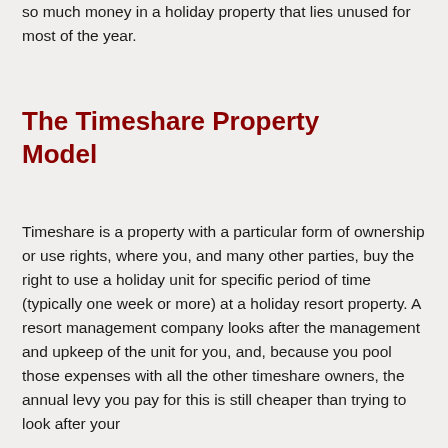so much money in a holiday property that lies unused for most of the year.
The Timeshare Property Model
Timeshare is a property with a particular form of ownership or use rights, where you, and many other parties, buy the right to use a holiday unit for specific period of time (typically one week or more) at a holiday resort property. A resort management company looks after the management and upkeep of the unit for you, and, because you pool those expenses with all the other timeshare owners, the annual levy you pay for this is still cheaper than trying to look after your